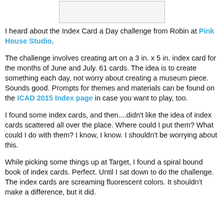[Figure (other): A rectangular image placeholder at the top of the page, light gray with a border]
I heard about the Index Card a Day challenge from Robin at Pink House Studio.
The challenge involves creating art on a 3 in. x 5 in. index card for the months of June and July. 61 cards. The idea is to create something each day, not worry about creating a museum piece. Sounds good. Prompts for themes and materials can be found on the ICAD 2015 Index page in case you want to play, too.
I found some index cards, and then....didn't like the idea of index cards scattered all over the place. Where could I put them? What could I do with them? I know, I know. I shouldn't be worrying about this.
While picking some things up at Target, I found a spiral bound book of index cards. Perfect. Until I sat down to do the challenge. The index cards are screaming fluorescent colors. It shouldn't make a difference, but it did.